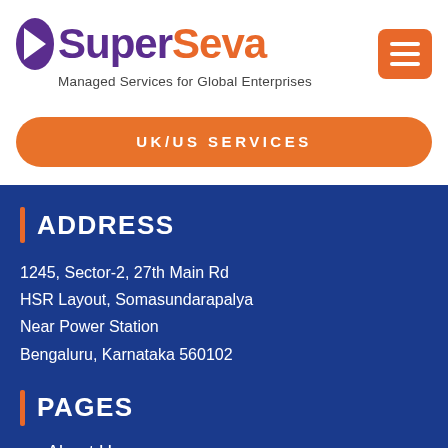[Figure (logo): SuperSeva logo with purple 'Super' and orange 'Seva' text, with a stylized icon on the left and tagline 'Managed Services for Global Enterprises']
[Figure (infographic): Orange hamburger menu button icon with three white horizontal lines]
UK/US SERVICES
ADDRESS
1245, Sector-2, 27th Main Rd
HSR Layout, Somasundarapalya
Near Power Station
Bengaluru, Karnataka 560102
PAGES
About Us